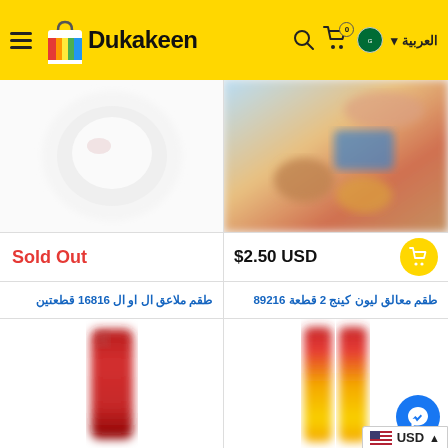[Figure (screenshot): Dukakeen e-commerce website header with yellow background, hamburger menu, colorful bag logo, Dukakeen text, search icon, cart with 0, Saudi Arabia flag and Arabic language toggle]
[Figure (photo): Blurred round white plate product image - sold out]
Sold Out
[Figure (photo): Blurred food ingredients product image priced at $2.50 USD]
$2.50 USD
طقم ملاعق ال او ال 16816 قطعتين
طقم معالق ليون كينج 2 قطعة 89216
[Figure (photo): Blurred red lipstick/cosmetic product image]
[Figure (photo): Blurred red and yellow spoons product image]
[Figure (logo): Facebook Messenger round blue button]
USD